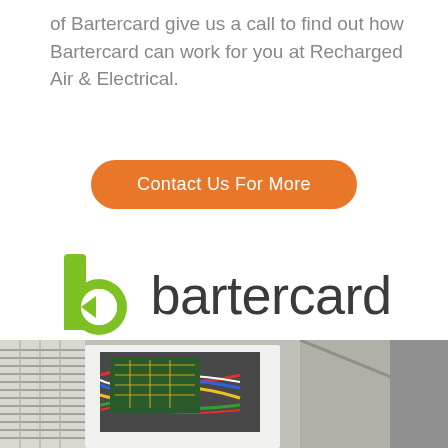of Bartercard give us a call to find out how Bartercard can work for you at Recharged Air & Electrical.
[Figure (other): Orange rounded rectangle button with text 'Contact Us For More']
[Figure (logo): Bartercard logo: green 'b' icon with white arrow/triangle inside, next to lowercase text 'bartercard' in dark gray]
[Figure (photo): Photo of an air conditioning unit with open panel showing internal wiring and circuit board, mounted on a wall/ceiling]